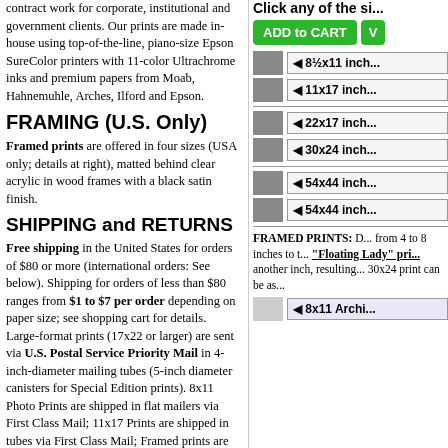contract work for corporate, institutional and government clients. Our prints are made in-house using top-of-the-line, piano-size Epson SureColor printers with 11-color Ultrachrome inks and premium papers from Moab, Hahnemuhle, Arches, Ilford and Epson.
FRAMING (U.S. Only)
Framed prints are offered in four sizes (USA only; details at right), matted behind clear acrylic in wood frames with a black satin finish.
SHIPPING and RETURNS
Free shipping in the United States for orders of $80 or more (international orders: See below). Shipping for orders of less than $80 ranges from $1 to $7 per order depending on paper size; see shopping cart for details. Large-format prints (17x22 or larger) are sent via U.S. Postal Service Priority Mail in 4-inch-diameter mailing tubes (5-inch diameter canisters for Special Edition prints). 8x11 Photo Prints are shipped in flat mailers via First Class Mail; 11x17 Prints are shipped in tubes via First Class Mail; Framed prints are shipped from Los Angeles via FedEx. For unframed prints, please allow approximately two weeks (10 business
Click any of the si...
[Figure (screenshot): ADD to CART green button and V... green button]
[Figure (screenshot): Size option rows: 8½x11 inch, 11x17 inch, 22x17 inch, 30x24 inch, 54x44 inch, 54x44 inch with thumbnail images]
FRAMED PRINTS: D... from 4 to 8 inches to t... "Floating Lady" pri... another inch, resulting... 30x24 print can be as...
[Figure (screenshot): 8x11 Archi... size option row with light blue button]